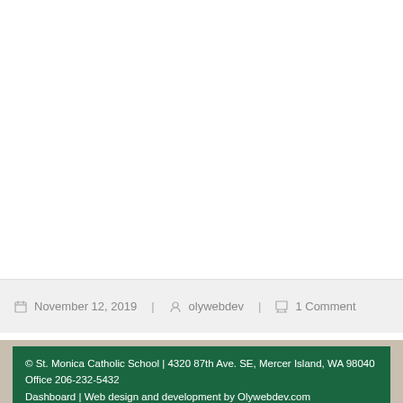November 12, 2019  olywebdev  1 Comment
© St. Monica Catholic School | 4320 87th Ave. SE, Mercer Island, WA 98040
Office 206-232-5432
Dashboard | Web design and development by Olywebdev.com